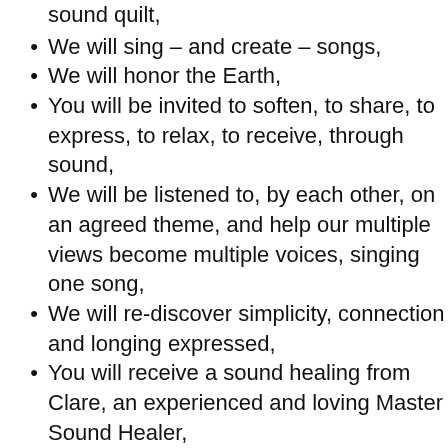sound quilt,
We will sing – and create – songs,
We will honor the Earth,
You will be invited to soften, to share, to express, to relax, to receive, through sound,
We will be listened to, by each other, on an agreed theme, and help our multiple views become multiple voices, singing one song,
We will re-discover simplicity, connection and longing expressed,
You will receive a sound healing from Clare, an experienced and loving Master Sound Healer,